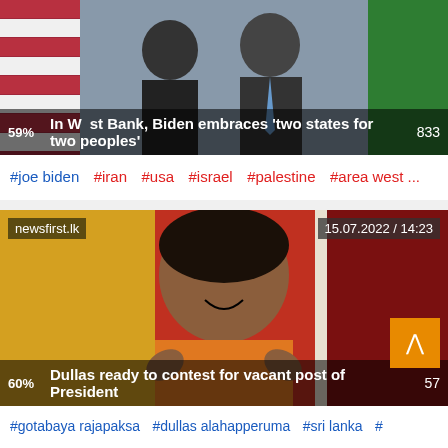[Figure (photo): Photo of two men in suits at an official meeting, American flag visible in background. Overlay text: '59% In West Bank, Biden embraces two states for two peoples 833']
#joe biden  #iran  #usa  #israel  #palestine  #area west ...
[Figure (photo): Photo of a smiling man in orange shirt with hands raised. Source: newsfirst.lk. Date: 15.07.2022 / 14:23. Overlay text: '60% Dullas ready to contest for vacant post of President 57']
#gotabaya rajapaksa  #dullas alahapperuma  #sri lanka  #...